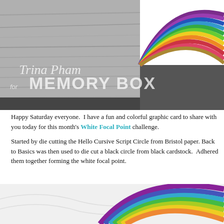[Figure (photo): Top composite photo showing a grey wooden plank texture on the left side and a rainbow arc on white/black background on the right, with watermark text 'Trina Pham for MEMORY BOX' overlaid in white.]
Happy Saturday everyone.  I have a fun and colorful graphic card to share with you today for this month's White Focal Point challenge.
Started by die cutting the Hello Cursive Script Circle from Bristol paper. Back to Basics was then used to die cut a black circle from black cardstock. Adhered them together forming the white focal point.
[Figure (photo): Bottom photo showing a close-up of a rainbow arc made from colorful cardstock strips on a white embossed background.]